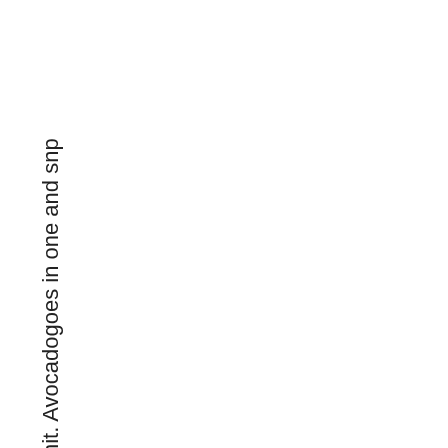nit. Avocadogoes in one and snp